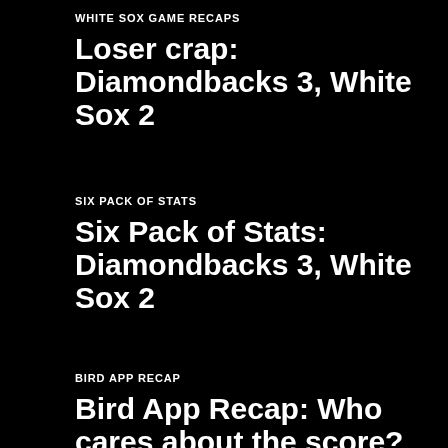WHITE SOX GAME RECAPS
Loser crap: Diamondbacks 3, White Sox 2
SIX PACK OF STATS
Six Pack of Stats: Diamondbacks 3, White Sox 2
BIRD APP RECAP
Bird App Recap: Who cares about the score?